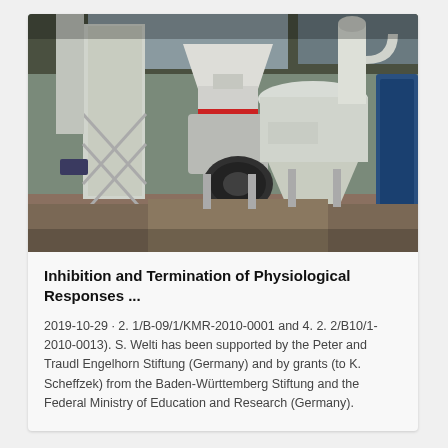[Figure (photo): Industrial milling or grinding equipment with large white cylindrical and conical components, ducts, and a black electric motor visible outdoors in a facility setting.]
Inhibition and Termination of Physiological Responses ...
2019-10-29 · 2. 1/B-09/1/KMR-2010-0001 and 4. 2. 2/B10/1-2010-0013). S. Welti has been supported by the Peter and Traudl Engelhorn Stiftung (Germany) and by grants (to K. Scheffzek) from the Baden-Württemberg Stiftung and the Federal Ministry of Education and Research (Germany).